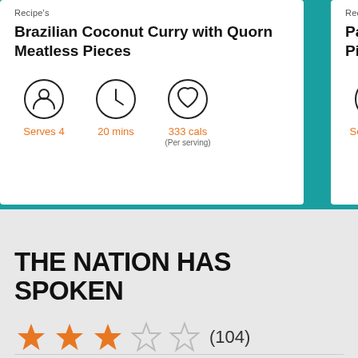Recipe's
Brazilian Coconut Curry with Quorn Meatless Pieces
Serves 4 | 20 mins | 333 cals (Per serving)
Recipe's
Pad Thai with Pieces
Serves 3-4
THE NATION HAS SPOKEN
★★★☆☆ (104)